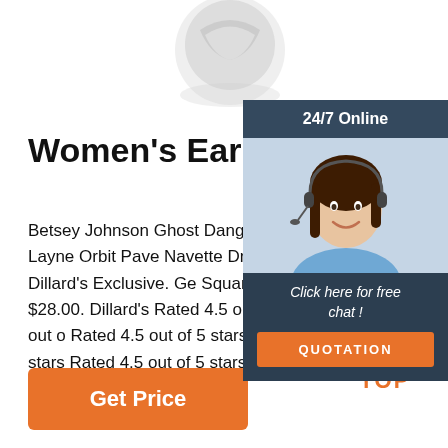[Figure (photo): Product photo of a ring or jewelry item, partially visible at top center of page]
Women's Earrings
Betsey Johnson Ghost Dangle Earrings. Gemma Layne Orbit Pave Navette Drop Earrings. $28.00. Dillard's Exclusive. Gemma Layne Square Drop Earrings. $28.00. Dillard's Exclusive. Rated 4.5 out of 5 stars Rated 4.5 out of 5 stars Rated 4.5 out of 5 stars Rated 4.5 out of 5 stars Rated 4.5 out of 5 stars.
[Figure (photo): 24/7 Online chat widget with photo of female customer service agent wearing headset, with 'Click here for free chat!' text and orange QUOTATION button]
[Figure (other): Orange TOP icon with dotted arrow pointing upward and the word TOP]
Get Price